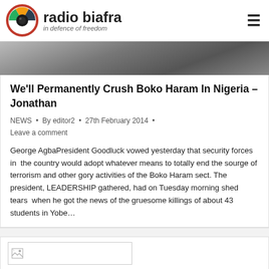radio biafra — in defence of freedom
[Figure (photo): Partial hero image of a person, cropped at top]
We'll Permanently Crush Boko Haram In Nigeria – Jonathan
NEWS • By editor2 • 27th February 2014 • Leave a comment
George AgbaPresident Goodluck vowed yesterday that security forces in the country would adopt whatever means to totally end the sourge of terrorism and other gory activities of the Boko Haram sect. The president, LEADERSHIP gathered, had on Tuesday morning shed tears when he got the news of the gruesome killings of about 43 students in Yobe…
[Figure (photo): Broken/missing image placeholder at bottom of page]